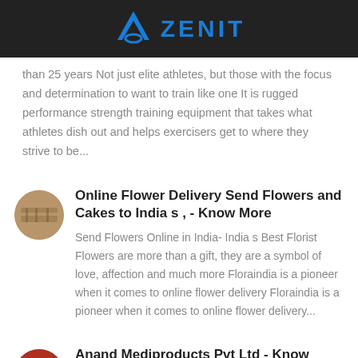ZENIT
than 25 years Not just elite athletes, but those with the focus and determination to want to train like one It is rugged performance strength training equipment that takes what athletes dish out and helps exercisers get to where they strive to be...
[Figure (photo): Oval thumbnail image of flowers/wood surface]
Online Flower Delivery Send Flowers and Cakes to India s , - Know More
Send Flowers Online in India- India s Best Florist Flowers are more than a gift, they are a symbol of love, affection and much more Floraindia is a pioneer when it comes to online flower delivery Floraindia is a pioneer when it comes to online flower delivery...
[Figure (photo): Oval thumbnail image with red tones]
Anand Mediproducts Pvt Ltd - Know